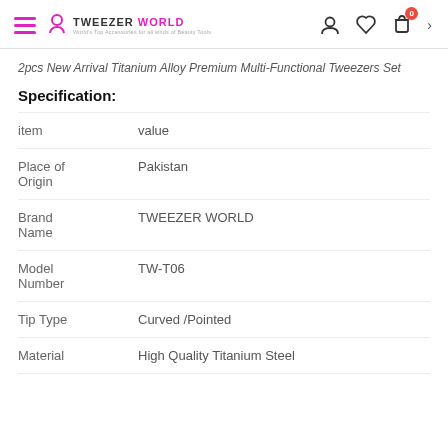TWEEZER WORLD
2pcs New Arrival Titanium Alloy Premium Multi-Functional Tweezers Set
Specification:
| item | value |
| --- | --- |
| Place of Origin | Pakistan |
| Brand Name | TWEEZER WORLD |
| Model Number | TW-T06 |
| Tip Type | Curved /Pointed |
| Material | High Quality Titanium Steel |